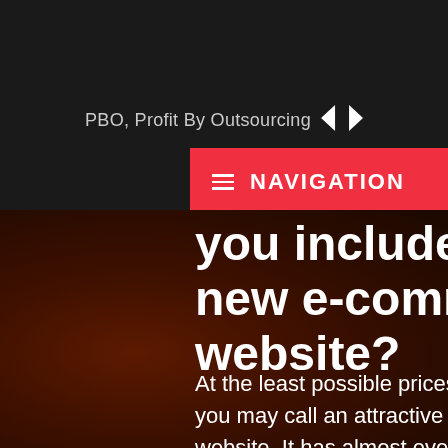PBO, Profit By Outsourcing
≡  NAVIGATION
you include in a new e-commerce website?
At the least possible prices, we make what you may call an attractive and user-friendly website. It has almost every necessary feature, be it content management system, member registration system, newsletter option or